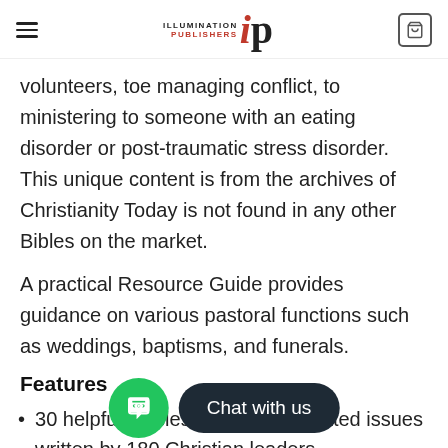Illumination Publishers
volunteers, toe managing conflict, to ministering to someone with an eating disorder or post-traumatic stress disorder. This unique content is from the archives of Christianity Today is not found in any other Bibles on the market.
A practical Resource Guide provides guidance on various pastoral functions such as weddings, baptisms, and funerals.
Features
30 helpful articles on ministry-related issues written by 180 Christian leaders
Practical resource guide with field-tested guidance on various pastoral functions such as weddings, baptisms,